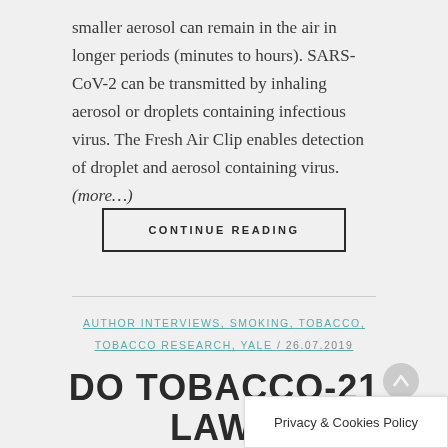smaller aerosol can remain in the air in longer periods (minutes to hours). SARS-CoV-2 can be transmitted by inhaling aerosol or droplets containing infectious virus. The Fresh Air Clip enables detection of droplet and aerosol containing virus. (more...)
CONTINUE READING
AUTHOR INTERVIEWS, SMOKING, TOBACCO, TOBACCO RESEARCH, YALE / 26.07.2019
DO TOBACCO-21 LAWS DECREAS... N YOUN...
Privacy & Cookies Policy